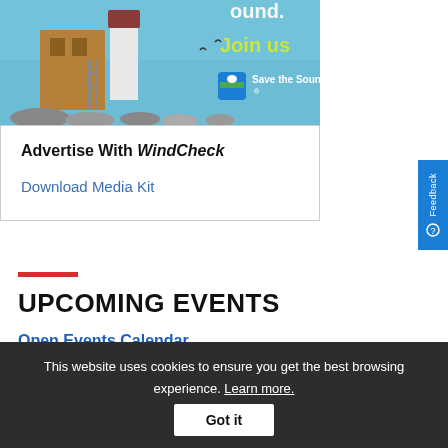[Figure (photo): Advertisement image showing a lighthouse with 'Join us' text in yellow-green and Save the Sound logo with icon]
Advertise With WindCheck
Download Media Kit
UPCOMING EVENTS
Open Events Calendar
This website uses cookies to ensure you get the best browsing experience. Learn more. Got it